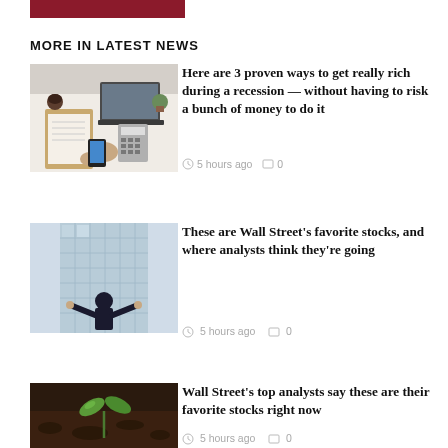MORE IN LATEST NEWS
[Figure (photo): Overhead view of a desk with laptop, calculator, notebook, phone and hands working]
Here are 3 proven ways to get really rich during a recession — without having to risk a bunch of money to do it
5 hours ago  0
[Figure (photo): Businessman with arms outstretched facing a large glass building]
These are Wall Street's favorite stocks, and where analysts think they're going
5 hours ago  0
[Figure (photo): Small green seedling plant growing from dark soil]
Wall Street's top analysts say these are their favorite stocks right now
5 hours ago  0